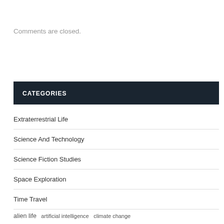Comments are closed.
CATEGORIES
Extraterrestrial Life
Science And Technology
Science Fiction Studies
Space Exploration
Time Travel
alien life   artificial intelligence   climate change